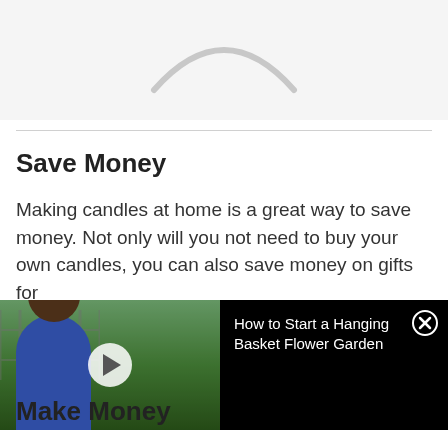[Figure (other): Loading spinner arc visible at top of page, gray curved shape on light gray background]
Save Money
Making candles at home is a great way to save money. Not only will you not need to buy your own candles, you can also save money on gifts for
[Figure (screenshot): Video player overlay showing a woman in a blue dress standing outdoors with a play button, alongside black panel with title 'How to Start a Hanging Basket Flower Garden' and a close (X) button]
Make Money